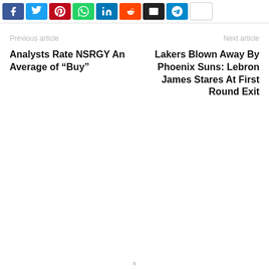[Figure (other): Social media sharing buttons: Facebook (blue), Twitter (light blue), Pinterest (red), WhatsApp (green), LinkedIn (blue), Reddit (orange-red), Email (black), Telegram (light blue), and one more (white/grey border)]
Previous article
Analysts Rate NSRGY An Average of “Buy”
Next article
Lakers Blown Away By Phoenix Suns: Lebron James Stares At First Round Exit